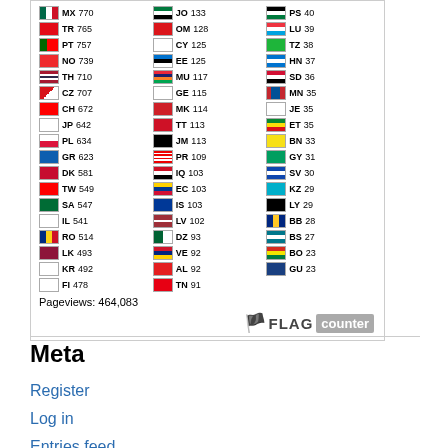[Figure (other): Flag counter widget showing country flags with 2-letter codes and pageview counts. Countries include MX 770, TR 765, PT 757, NO 739, TH 710, CZ 707, CH 672, JP 642, PL 634, GR 623, DK 581, TW 549, SA 547, IL 541, RO 514, LK 493, KR 492, FI 478, JO 133, OM 128, CY 125, EE 125, MU 117, GE 115, MK 114, TT 113, JM 113, PR 109, IQ 103, EC 103, IS 103, LV 102, DZ 93, VE 92, AL 92, TN 91, PS 40, LU 39, TZ 38, HN 37, SD 36, MN 35, JE 35, ET 35, BN 33, GY 31, SV 30, KZ 29, LY 29, BB 28, BS 27, BO 23, GU 23. Pageviews: 464,083]
Meta
Register
Log in
Entries feed